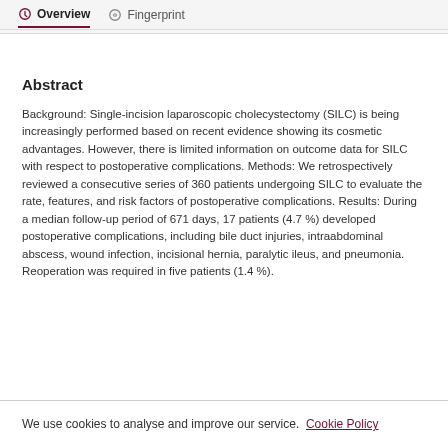Overview  Fingerprint
Abstract
Background: Single-incision laparoscopic cholecystectomy (SILC) is being increasingly performed based on recent evidence showing its cosmetic advantages. However, there is limited information on outcome data for SILC with respect to postoperative complications. Methods: We retrospectively reviewed a consecutive series of 360 patients undergoing SILC to evaluate the rate, features, and risk factors of postoperative complications. Results: During a median follow-up period of 671 days, 17 patients (4.7 %) developed postoperative complications, including bile duct injuries, intraabdominal abscess, wound infection, incisional hernia, paralytic ileus, and pneumonia. Reoperation was required in five patients (1.4 %).
We use cookies to analyse and improve our service. Cookie Policy